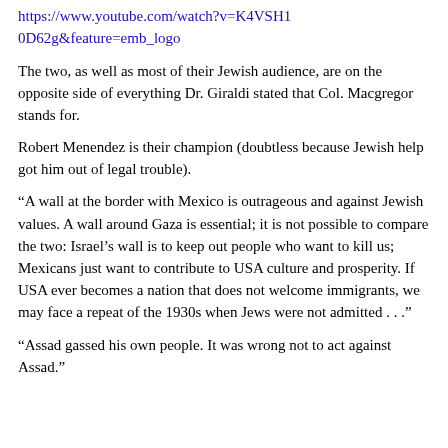https://www.youtube.com/watch?v=K4VSH0D62g&feature=emb_logo
The two, as well as most of their Jewish audience, are on the opposite side of everything Dr. Giraldi stated that Col. Macgregor stands for.
Robert Menendez is their champion (doubtless because Jewish help got him out of legal trouble).
“A wall at the border with Mexico is outrageous and against Jewish values. A wall around Gaza is essential; it is not possible to compare the two: Israel’s wall is to keep out people who want to kill us; Mexicans just want to contribute to USA culture and prosperity. If USA ever becomes a nation that does not welcome immigrants, we may face a repeat of the 1930s when Jews were not admitted . . .”
“Assad gassed his own people. It was wrong not to act against Assad.”